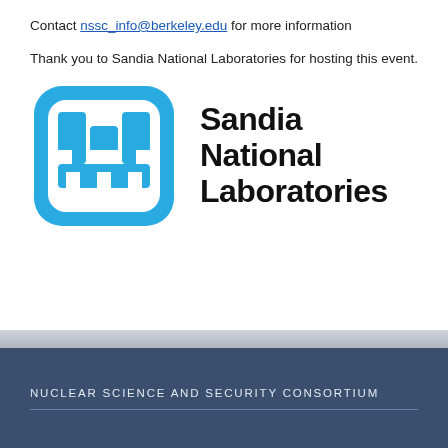Contact nssc_info@berkeley.edu for more information
Thank you to Sandia National Laboratories for hosting this event.
[Figure (logo): Sandia National Laboratories logo: blue rounded-square icon with abstract building/people shapes in white, beside bold black text reading 'Sandia National Laboratories']
NUCLEAR SCIENCE AND SECURITY CONSORTIUM